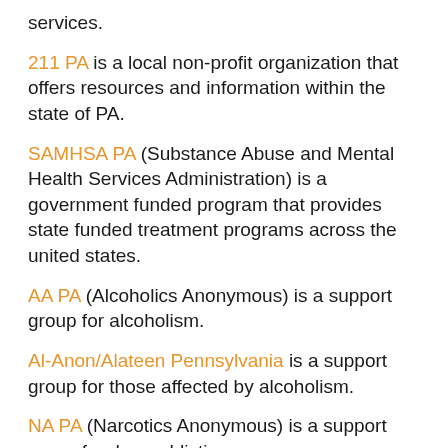services.
211 PA is a local non-profit organization that offers resources and information within the state of PA.
SAMHSA PA (Substance Abuse and Mental Health Services Administration) is a government funded program that provides state funded treatment programs across the united states.
AA PA (Alcoholics Anonymous) is a support group for alcoholism.
Al-Anon/Alateen Pennsylvania is a support group for those affected by alcoholism.
NA PA (Narcotics Anonymous) is a support group for drug addiction.
Nar-Anon Pennsylvania is a support group for those affected by drug addiction.